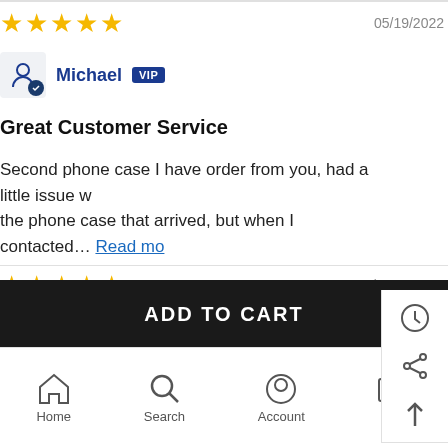★★★★★  05/19/2022
Michael  VIP
Great Customer Service
Second phone case I have order from you, had a little issue with the phone case that arrived, but when I contacted… Read more
★★★★★  08/...
Tegan Holloway
ADD TO CART
Home  Search  Account  Cart 0